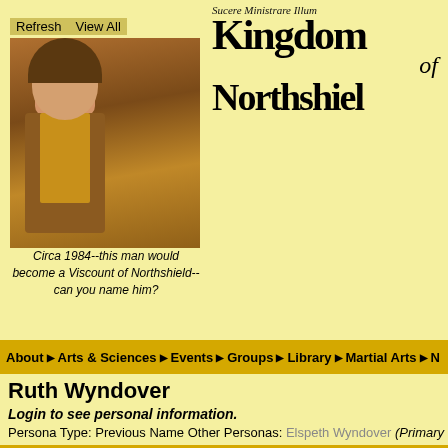[Figure (photo): Medieval costume photo of a man, circa 1984]
Circa 1984--this man would become a Viscount of Northshield--can you name him?
Sucere Ministrare Illum Kingdom of Northshield
About ▶ Arts & Sciences ▶ Events ▶ Groups ▶ Library ▶ Martial Arts ▶ N
Ruth Wyndover
Login to see personal information.
Persona Type: Previous Name Other Personas: Elspeth Wyndover (Primary
Awards:
|  | Award Name | Presenting Branch | Court Date |  |
| --- | --- | --- | --- | --- |
| 🔍 | Award of Arms | Kingdom of Northshield | 4/9/2016 | Spring |
| 🔍 | Cypher, Joint King & Queen | Kingdom of Northshield | 9/13/2014 | Norths |
| 🔍 | Compass, Award of the | Kingdom of Northshield | 7/9/2011 | Warrio |
Please send award updates/corrections to the Clerk of Precedence: cop@
Marshal Warrants and Authorizations: ✅ Denotes specific Authoriz